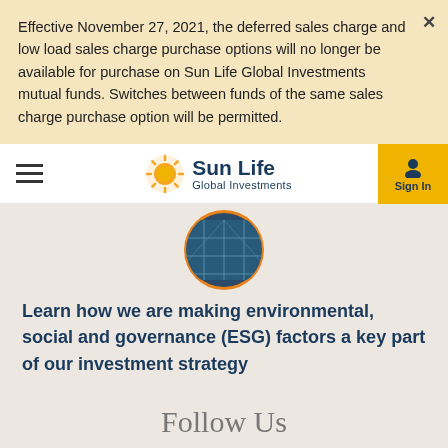Effective November 27, 2021, the deferred sales charge and low load sales charge purchase options will no longer be available for purchase on Sun Life Global Investments mutual funds. Switches between funds of the same sales charge purchase option will be permitted.
[Figure (logo): Sun Life Global Investments logo with hamburger menu and Sign In button in navigation bar]
[Figure (photo): Circular cropped image of solar panels with orange border]
Learn how we are making environmental, social and governance (ESG) factors a key part of our investment strategy
Follow Us
[Figure (illustration): Row of social media icons: LinkedIn, another social icon, YouTube]